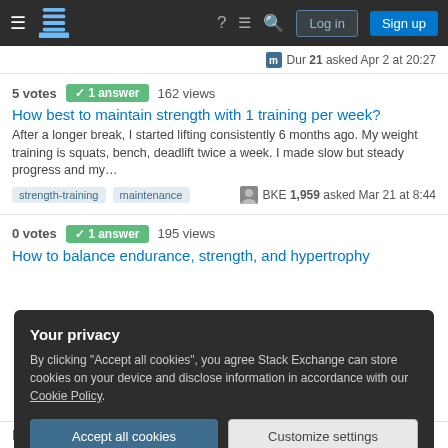Stack Exchange navigation bar with Log in and Sign up buttons
m Dur 21 asked Apr 2 at 20:27
5 votes ✓ 1 answer 162 views
How best to maintain strength with 1 training per week?
After a longer break, I started lifting consistently 6 months ago. My weight training is squats, bench, deadlift twice a week. I made slow but steady progress and my…
strength-training
maintenance
BKE 1,959 asked Mar 21 at 8:44
0 votes ✓ 1 answer 195 views
How to balance endurance, strength, and hypertrophy
Your privacy
By clicking "Accept all cookies", you agree Stack Exchange can store cookies on your device and disclose information in accordance with our Cookie Policy.
Accept all cookies
Customize settings
How important is Regular Exercise vs Amount of Exercise?